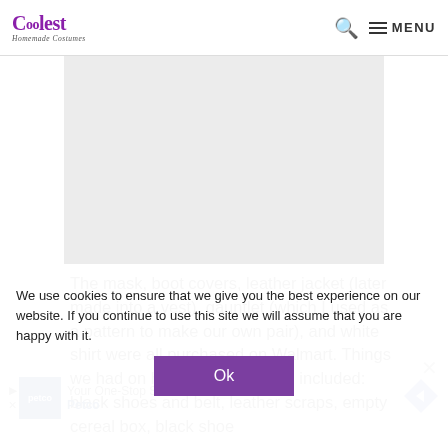Coolest Homemade Costumes — MENU
[Figure (other): Gray advertisement placeholder area]
The mask, boot covers, leather jacket (later made into a vest), gauntlet (which I used as a pattern to make our own pair), and white shirt were all purchased on Walmart. Things we had on hand that were also included: black shoes and belt, leather scraps, empty cereal box, black shoe
We use cookies to ensure that we give you the best experience on our website. If you continue to use this site we will assume that you are happy with it.
Ok
[Figure (other): Petco advertisement banner with logo and navigation arrow]
Your One-Stop Sur... uded: